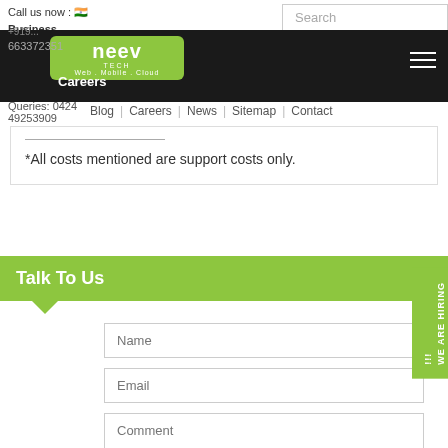Call us now : 🇮🇳
Business
Queries: 0424 49253909
[Figure (logo): Neev Tech logo in green rounded rectangle with text 'neev TECH Web . Mobile . Cloud']
Careers
Blog | Careers | News | Sitemap | Contact
*All costs mentioned are support costs only.
Talk To Us
Name
Email
Comment
Submit
WE ARE HIRING !!!